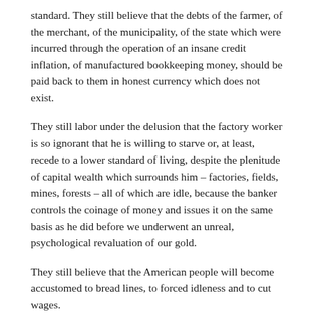standard. They still believe that the debts of the farmer, of the merchant, of the municipality, of the state which were incurred through the operation of an insane credit inflation, of manufactured bookkeeping money, should be paid back to them in honest currency which does not exist.
They still labor under the delusion that the factory worker is so ignorant that he is willing to starve or, at least, recede to a lower standard of living, despite the plenitude of capital wealth which surrounds him – factories, fields, mines, forests – all of which are idle, because the banker controls the coinage of money and issues it on the same basis as he did before we underwent an unreal, psychological revaluation of our gold.
They still believe that the American people will become accustomed to bread lines, to forced idleness and to cut wages.
Most important, they will fight fairly and unfairly, scrupulously and unscrupulously, to retain their racket of lending manufactured money to the government for which money the government and the taxpayer must billions of dollars of